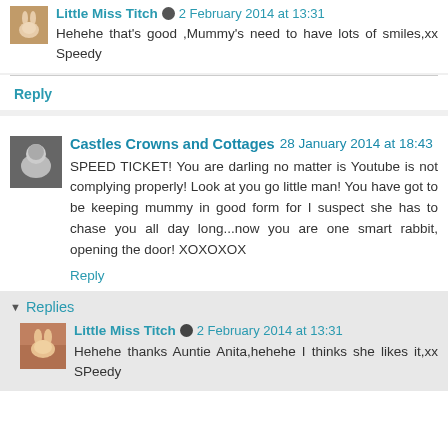Little Miss Titch  2 February 2014 at 13:31
Hehehe that's good ,Mummy's need to have lots of smiles,xx Speedy
Reply
Castles Crowns and Cottages  28 January 2014 at 18:43
SPEED TICKET! You are darling no matter is Youtube is not complying properly! Look at you go little man! You have got to be keeping mummy in good form for I suspect she has to chase you all day long...now you are one smart rabbit, opening the door! XOXOXOX
Reply
Replies
Little Miss Titch  2 February 2014 at 13:31
Hehehe thanks Auntie Anita,hehehe I thinks she likes it,xx SPeedy